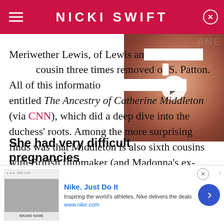NICKI SWIFT
[Figure (photo): Woman with red hair smiling, with a play button overlay indicating a video thumbnail. ANE label in top right corner.]
Meriwether Lewis, of Lewis and Clark fame, was a cousin three times removed of George S. Patton. All of this information came from a book entitled The Ancestry of Catherine Middleton (via CNN), which did a deep dive into the duchess' roots. Among the more surprising finds was that Middleton is also sixth cousins with British filmmaker (and Madonna's ex-husband) Guy Ritchie.
She had very difficult pregnancies
[Figure (screenshot): Nike advertisement banner. Nike. Just Do It. Inspiring the world's athletes, Nike delivers the deals. www.nike.com]